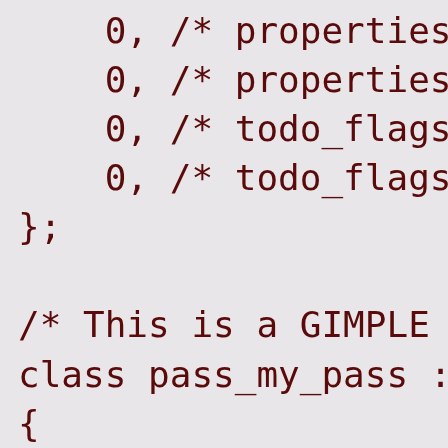0, /* properties_pro
    0, /* properties_des
    0, /* todo_flags_sta
    0, /* todo_flags_fin
};

/* This is a GIMPLE pa
class pass_my_pass : p
{
public:
  pass_my_pass (gcc::c